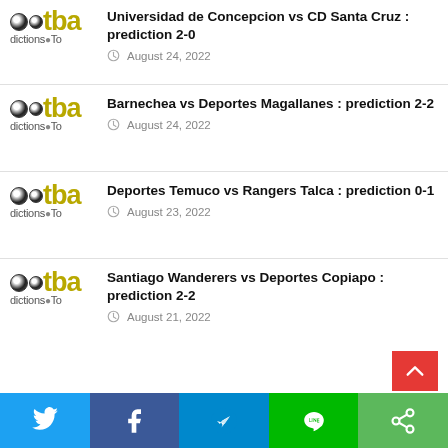Universidad de Concepcion vs CD Santa Cruz : prediction 2-0 — August 24, 2022
Barnechea vs Deportes Magallanes : prediction 2-2 — August 24, 2022
Deportes Temuco vs Rangers Talca : prediction 0-1 — August 23, 2022
Santiago Wanderers vs Deportes Copiapo : prediction 2-2 — August 21, 2022
Twitter | Facebook | Telegram | Line | Share